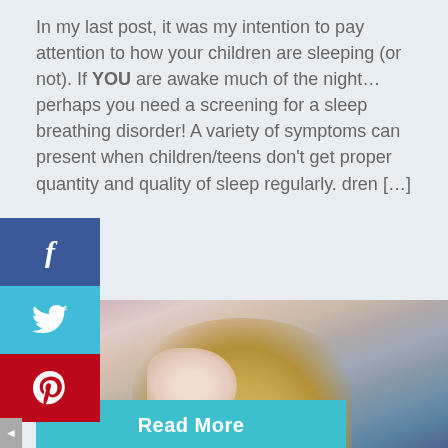In my last post, it was my intention to pay attention to how your children are sleeping (or not). If YOU are awake much of the night…perhaps you need a screening for a sleep breathing disorder! A variety of symptoms can present when children/teens don't get proper quantity and quality of sleep regularly. dren […]
[Figure (screenshot): Social media sharing sidebar with Facebook (blue), Twitter (light blue), and Pinterest (red) buttons showing respective icons]
Read More
[Figure (photo): Photo of a young child with blonde hair lying down, possibly sleeping]